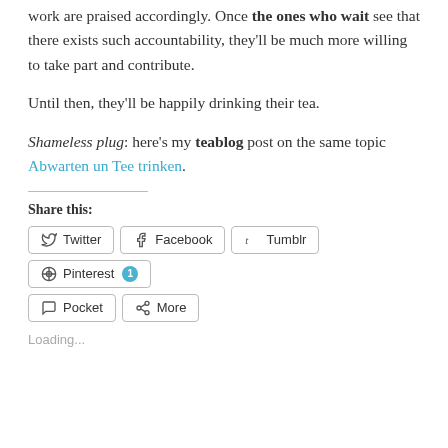work are praised accordingly. Once the ones who wait see that there exists such accountability, they'll be much more willing to take part and contribute.
Until then, they'll be happily drinking their tea.
Shameless plug: here's my teablog post on the same topic Abwarten un Tee trinken.
Share this:
Twitter  Facebook  Tumblr  Pinterest 1  Pocket  More
Loading...